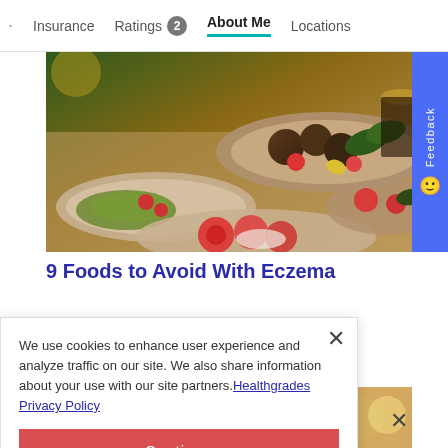Insurance | Ratings 2 | About Me | Locations
[Figure (photo): A table spread with various Mediterranean or Middle Eastern dishes including meatballs, stuffed grape leaves, salads with tomatoes, and other appetizers on plates]
9 Foods to Avoid With Eczema
We use cookies to enhance user experience and analyze traffic on our site. We also share information about your use with our site partners. Healthgrades Privacy Policy
Continue
Access my Privacy Preferences